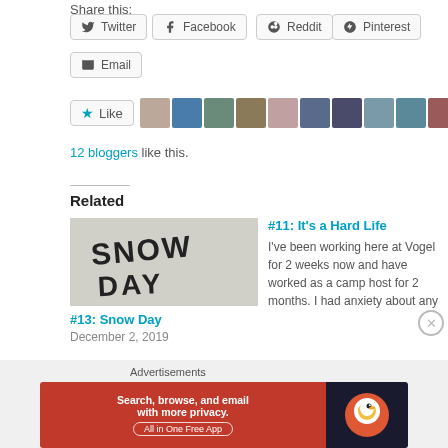Share this:
Twitter
Facebook
Reddit
Pinterest
Email
[Figure (other): Like button with star icon and 10 blogger avatars in a strip]
12 bloggers like this.
Related
[Figure (photo): Black and white photo with text Snow Day written in the snow]
#13: Snow Day
December 2, 2019
#11: It's a Hard Life
I've been working here at Vogel for 2 weeks now and have worked as a camp host for 2 months.  I had anxiety about any
November 15, 2019
Advertisements
[Figure (screenshot): DuckDuckGo advertisement banner: Search, browse, and email with more privacy. All in One Free App]